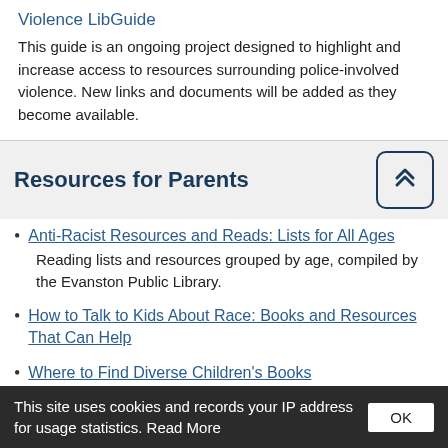Violence LibGuide
This guide is an ongoing project designed to highlight and increase access to resources surrounding police-involved violence. New links and documents will be added as they become available.
Resources for Parents
Anti-Racist Resources and Reads: Lists for All Ages
Reading lists and resources grouped by age, compiled by the Evanston Public Library.
How to Talk to Kids About Race: Books and Resources That Can Help
Where to Find Diverse Children's Books
Looking for Excellent “Diverse” Books for Children? Start
This site uses cookies and records your IP address for usage statistics. Read More  OK